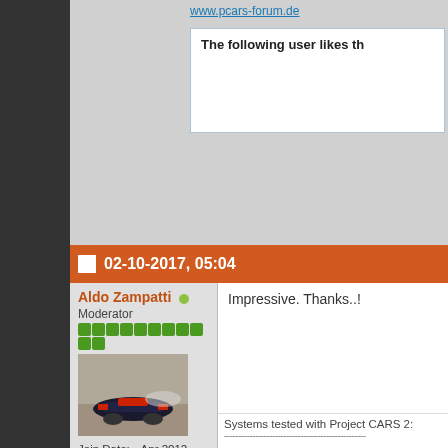www.pcars-forum.de
The following user likes th...
02-10-2017, 05:04
Aldo Zampatti
Moderator
[Figure (photo): Formula 1 car racing photo used as user avatar]
Join Date: Apr 2012
Location: Ushuaia, Argentina - Santiago, Chile
Posts: 1,796
Platform: PC
Impressive. Thanks..!
Systems tested with Project CARS 2:
Core i7 4790K - nVidia GTX 1080ti - 16G
Core i7 7700HQ - nVidia GTX 1050